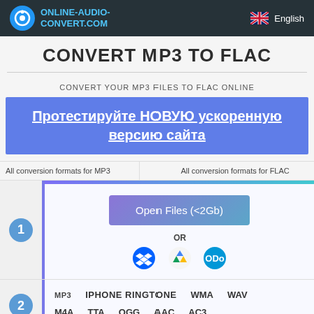ONLINE-AUDIO-CONVERT.COM | English
CONVERT MP3 TO FLAC
CONVERT YOUR MP3 FILES TO FLAC ONLINE
Протестируйте НОВУЮ ускоренную версию сайта
All conversion formats for MP3 | All conversion formats for FLAC
1 - Open Files (<2Gb) OR [Dropbox] [Google Drive] [OneDrive]
2 - MP3  IPHONE RINGTONE  WMA  WAV  M4A  TTA  OGG  AAC  AC3